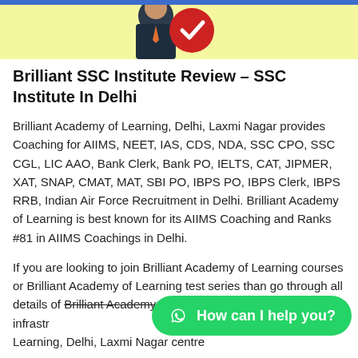[Figure (illustration): Top banner with yellow background showing partial illustration of a person in a suit with a red and white circular logo/badge element]
Brilliant SSC Institute Review – SSC Institute In Delhi
Brilliant Academy of Learning, Delhi, Laxmi Nagar provides Coaching for AIIMS, NEET, IAS, CDS, NDA, SSC CPO, SSC CGL, LIC AAO, Bank Clerk, Bank PO, IELTS, CAT, JIPMER, XAT, SNAP, CMAT, MAT, SBI PO, IBPS PO, IBPS Clerk, IBPS RRB, Indian Air Force Recruitment in Delhi. Brilliant Academy of Learning is best known for its AIIMS Coaching and Ranks #81 in AIIMS Coachings in Delhi.
If you are looking to join Brilliant Academy of Learning courses or Brilliant Academy of Learning test series than go through all details of Brilliant Academy of Learning fee structure, faculty, infrastructure Brilliant Academy of Learning, Delhi, Laxmi Nagar centre
[Figure (other): WhatsApp floating button with green background showing WhatsApp icon and text 'How can I help you?']